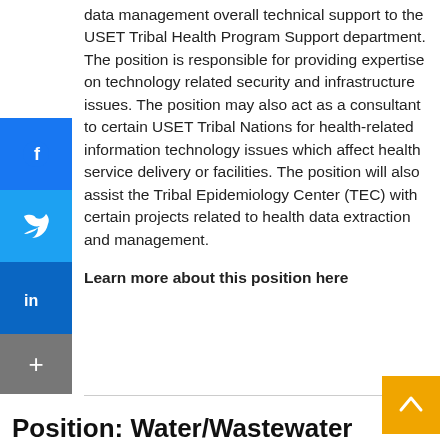data management overall technical support to the USET Tribal Health Program Support department. The position is responsible for providing expertise on technology related security and infrastructure issues. The position may also act as a consultant to certain USET Tribal Nations for health-related information technology issues which affect health service delivery or facilities. The position will also assist the Tribal Epidemiology Center (TEC) with certain projects related to health data extraction and management.
Learn more about this position here
Position: Water/Wastewater